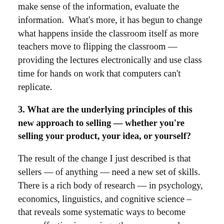make sense of the information, evaluate the information. What's more, it has begun to change what happens inside the classroom itself as more teachers move to flipping the classroom — providing the lectures electronically and use class time for hands on work that computers can't replicate.
3. What are the underlying principles of this new approach to selling — whether you're selling your product, your idea, or yourself?
The result of the change I just described is that sellers — of anything — need a new set of skills. There is a rich body of research — in psychology, economics, linguistics, and cognitive science – that reveals some systematic ways to become more effective in moving others on a remade terrain of information parity.  The old ABC's of